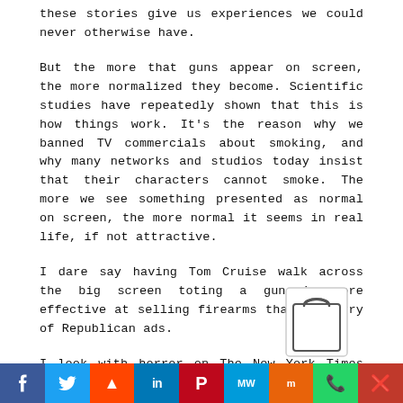these stories give us experiences we could never otherwise have.
But the more that guns appear on screen, the more normalized they become. Scientific studies have repeatedly shown that this is how things work. It's the reason why we banned TV commercials about smoking, and why many networks and studios today insist that their characters cannot smoke. The more we see something presented as normal on screen, the more normal it seems in real life, if not attractive.
I dare say having Tom Cruise walk across the big screen toting a gun is more effective at selling firearms than a flurry of Republican ads.
I look with horror on The New York Times report about the number of Republican candidates for office that have used guns in ads this year. In over 100 different ads, G.O.P. candidates have shown themselves holding a gun, shooting a gun or describing themselves as advocates of gun rights, some of them speaking out
[Figure (other): Shopping bag icon overlay]
f  Twitter  Reddit  in  Pinterest  MW  Mix  WhatsApp  Share